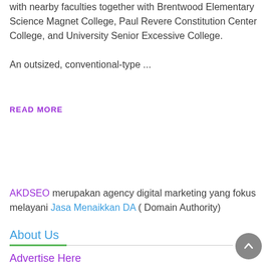with nearby faculties together with Brentwood Elementary Science Magnet College, Paul Revere Constitution Center College, and University Senior Excessive College.

An outsized, conventional-type ...
READ MORE
AKDSEO merupakan agency digital marketing yang fokus melayani Jasa Menaikkan DA ( Domain Authority)
About Us
Advertise Here